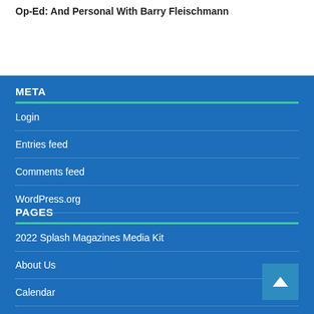Op-Ed: And Personal With Barry Fleischmann
META
Login
Entries feed
Comments feed
WordPress.org
PAGES
2022 Splash Magazines Media Kit
About Us
Calendar
Home
Join Us!!